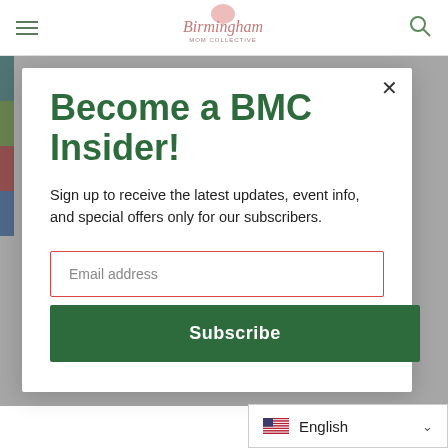Birmingham Mom Collective
Become a BMC Insider!
Sign up to receive the latest updates, event info, and special offers only for our subscribers.
Email address
Subscribe
English